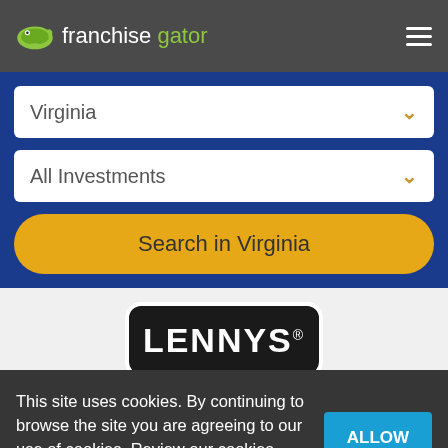franchise gator
Virginia
All Investments
Search in Virginia
[Figure (logo): Lenny's restaurant logo - black rounded rectangle with white bold text LENNYS and registered trademark symbol]
This site uses cookies. By continuing to browse the site you are agreeing to our use of cookies. Review our cookies information for more details.